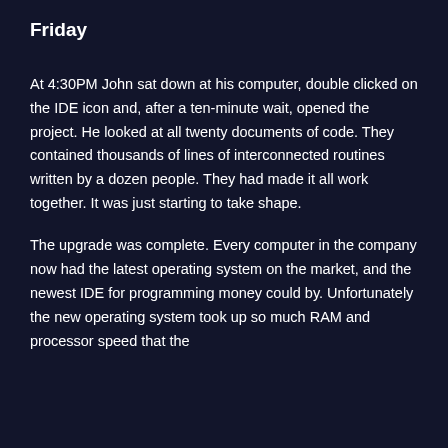Friday
At 4:30PM John sat down at his computer, double clicked on the IDE icon and, after a ten-minute wait, opened the project. He looked at all twenty documents of code. They contained thousands of lines of interconnected routines written by a dozen people. They had made it all work together. It was just starting to take shape.
The upgrade was complete. Every computer in the company now had the latest operating system on the market, and the newest IDE for programming money could by. Unfortunately the new operating system took up so much RAM and processor speed that the